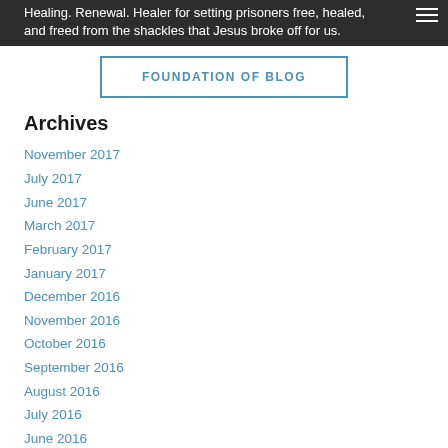Healing. Renewal. Healer for setting prisoners free, healed, and freed from the shackles that Jesus broke off for us.
FOUNDATION OF BLOG
Archives
November 2017
July 2017
June 2017
March 2017
February 2017
January 2017
December 2016
November 2016
October 2016
September 2016
August 2016
July 2016
June 2016